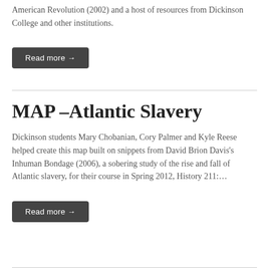American Revolution (2002) and a host of resources from Dickinson College and other institutions.
Read more →
MAP –Atlantic Slavery
Dickinson students Mary Chobanian, Cory Palmer and Kyle Reese helped create this map built on snippets from David Brion Davis's Inhuman Bondage (2006), a sobering study of the rise and fall of Atlantic slavery, for their course in Spring 2012, History 211:…
Read more →